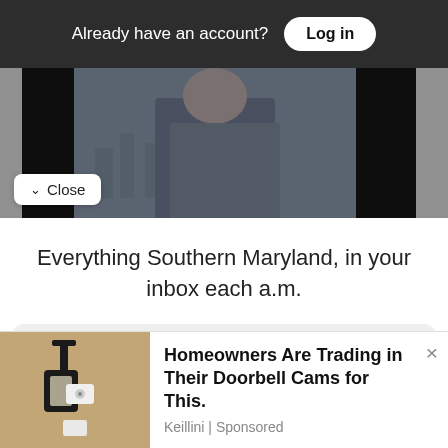Already have an account? Log in
[Figure (photo): Partial screenshot of a video player showing a man in a gray blazer against a city background, with black letterbox bars on sides]
Close
Everything Southern Maryland, in your inbox each a.m.
Free Newsletters 1
Daily Digest
[Figure (photo): Advertisement showing a wall-mounted security camera. Text: Homeowners Are Trading in Their Doorbell Cams for This. Keillini | Sponsored]